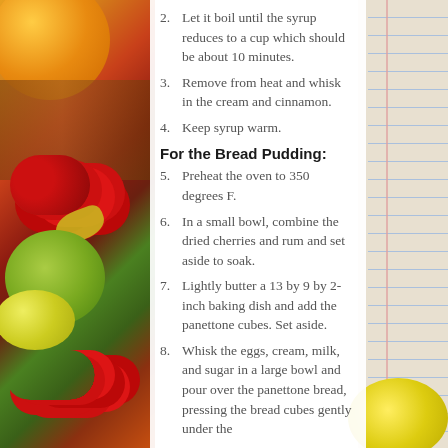[Figure (photo): Background photo of colorful autumn fruits, berries, and vegetables on the left side, and a lined notebook on the right side.]
2. Let it boil until the syrup reduces to a cup which should be about 10 minutes.
3. Remove from heat and whisk in the cream and cinnamon.
4. Keep syrup warm.
For the Bread Pudding:
5. Preheat the oven to 350 degrees F.
6. In a small bowl, combine the dried cherries and rum and set aside to soak.
7. Lightly butter a 13 by 9 by 2-inch baking dish and add the panettone cubes. Set aside.
8. Whisk the eggs, cream, milk, and sugar in a large bowl and pour over the panettone bread, pressing the bread cubes gently under the